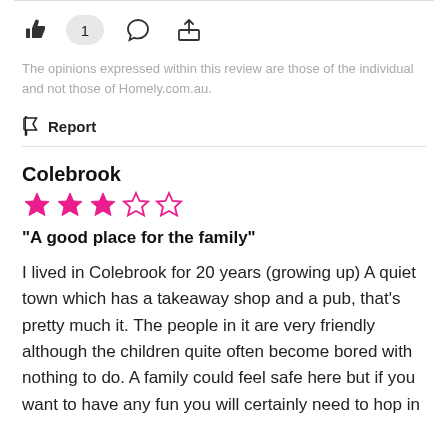[Figure (other): Social interaction icons row: thumbs up icon, like count badge showing 1, comment bubble icon, share/export icon]
The opinions expressed within this review are those of the individual and not those of Homely.com.au.
Report
Colebrook
[Figure (other): 3 out of 5 stars rating in pink/magenta color]
"A good place for the family"
I lived in Colebrook for 20 years (growing up) A quiet town which has a takeaway shop and a pub, that's pretty much it. The people in it are very friendly although the children quite often become bored with nothing to do. A family could feel safe here but if you want to have any fun you will certainly need to hop in